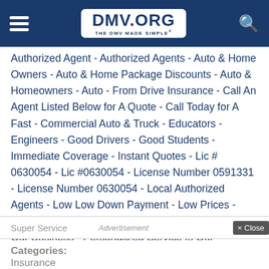DMV.ORG - THE DMV MADE SIMPLE
Authorized Agent - Authorized Agents - Auto & Home Owners - Auto & Home Package Discounts - Auto & Homeowners - Auto - From Drive Insurance - Call An Agent Listed Below for A Quote - Call Today for A Fast - Commercial Auto & Truck - Educators - Engineers - Good Drivers - Good Students - Immediate Coverage - Instant Quotes - Lic # 0630054 - Lic #0630054 - License Number 0591331 - License Number 0630054 - Local Authorized Agents - Low Low Down Payment - Low Prices - Over 40 Years Experience - Personalized Service In Our Business - Personalized Service Is Our Business - Prior Insurance - Scientists - Sr-22 Available -
Super Service
Advertisement
× Close
Categories:
Insurance